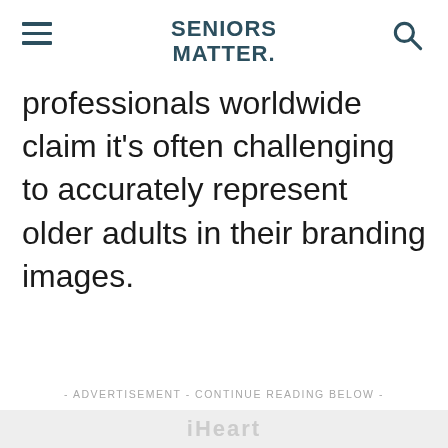SENIORS MATTER.
professionals worldwide claim it's often challenging to accurately represent older adults in their branding images.
- ADVERTISEMENT - CONTINUE READING BELOW -
[Figure (other): Advertisement placeholder area with light gray background and watermark text]